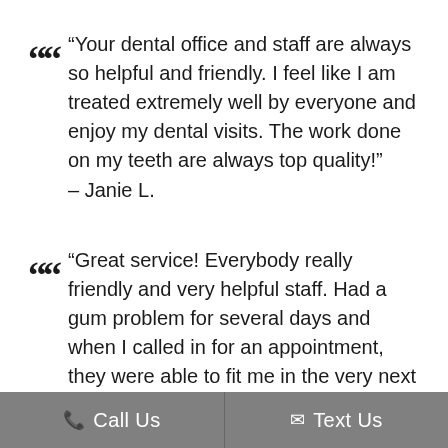“Your dental office and staff are always so helpful and friendly. I feel like I am treated extremely well by everyone and enjoy my dental visits. The work done on my teeth are always top quality!” – Janie L.
“Great service! Everybody really friendly and very helpful staff. Had a gum problem for several days and when I called in for an appointment, they were able to fit me in the very next day! Took
Call Us   Text Us